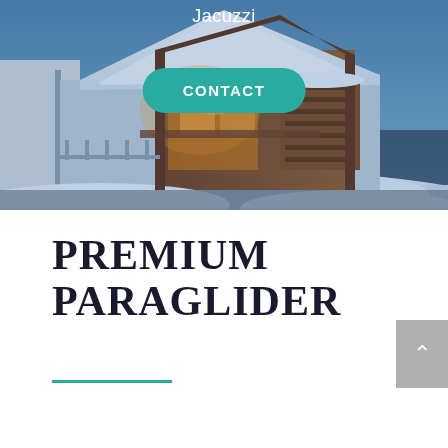[Figure (photo): Snow-covered alpine chalet photographed at dusk/night with warm interior lighting visible through wooden architectural details. Blue-toned winter scene with heavy snow on the roof.]
Jacuzzi
CONTACT
PREMIUM PARAGLIDER